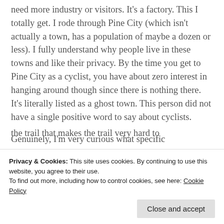need more industry or visitors.  It's a factory.  This I totally get.  I rode through Pine City (which isn't actually a town, has a population of maybe a dozen or less).  I fully understand why people live in these towns and like their privacy.  By the time you get to Pine City as a cyclist, you have about zero interest in hanging around though since there is nothing there.  It's literally listed as a ghost town.  This person did not have a single positive word to say about cyclists.
Genuinely, I'm very curious what specific
the trail that makes the trail very hard to
Privacy & Cookies: This site uses cookies. By continuing to use this website, you agree to their use.
To find out more, including how to control cookies, see here: Cookie Policy